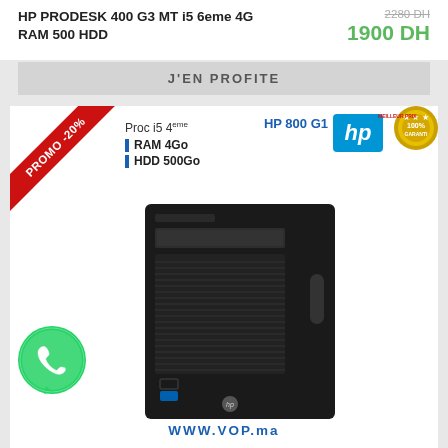HP PRODESK 400 G3 MT i5 6eme 4G RAM 500 HDD
2280 DH
1900 DH
J'EN PROFITE
PROMO -20%
Proc i5 4eme RAM 4Go HDD 500Go
HP 800 G1
[Figure (logo): HP logo blue swoosh]
[Figure (illustration): Gold 100% Garanti meilleur prix badge]
[Figure (photo): HP EliteDesk 800 G1 SFF desktop computer, black tower standing upright]
[Figure (logo): WhatsApp green phone bubble icon]
WWW.VOP.ma